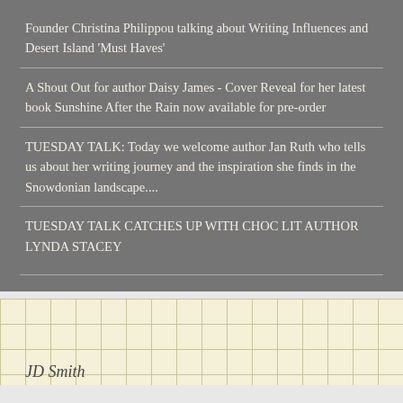Founder Christina Philippou talking about Writing Influences and Desert Island 'Must Haves'
A Shout Out for author Daisy James - Cover Reveal for her latest book Sunshine After the Rain now available for pre-order
TUESDAY TALK: Today we welcome author Jan Ruth who tells us about her writing journey and the inspiration she finds in the Snowdonian landscape....
TUESDAY TALK CATCHES UP WITH CHOC LIT AUTHOR LYNDA STACEY
[Figure (other): Cream/yellow graph-paper background section with text 'JD Smith' in italic serif font at bottom left]